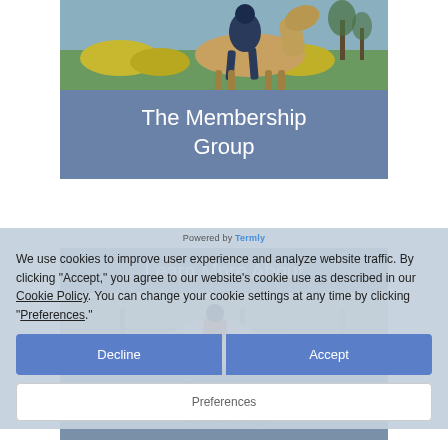[Figure (photo): Horse and rider photo cropped at top, scenic background with green fields]
The Membership Group
Learn More About
[Figure (photo): Horse and rider jumping photo partially visible behind cookie consent overlay]
Premium Coaching
Powered by Termly
We use cookies to improve user experience and analyze website traffic. By clicking “Accept,” you agree to our website’s cookie use as described in our Cookie Policy. You can change your cookie settings at any time by clicking “Preferences.”
Decline
Accept
Preferences